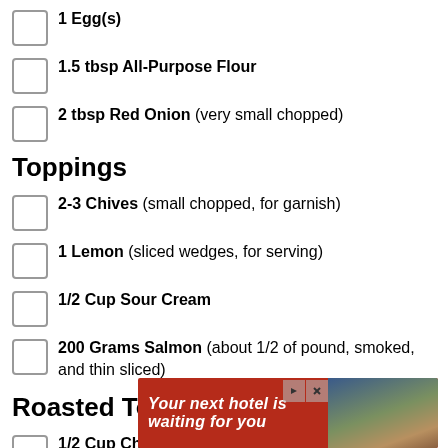1 Egg(s)
1.5 tbsp All-Purpose Flour
2 tbsp Red Onion (very small chopped)
Toppings
2-3 Chives (small chopped, for garnish)
1 Lemon (sliced wedges, for serving)
1/2 Cup Sour Cream
200 Grams Salmon (about 1/2 of pound, smoked, and thin sliced)
Roasted Tomatoes
1/2 Cup Cherry Tomatoes (or grape tomatoes, h...
[Figure (other): Advertisement banner: 'Your next hotel is waiting for you' with hotel imagery background, red background with play and close icons]